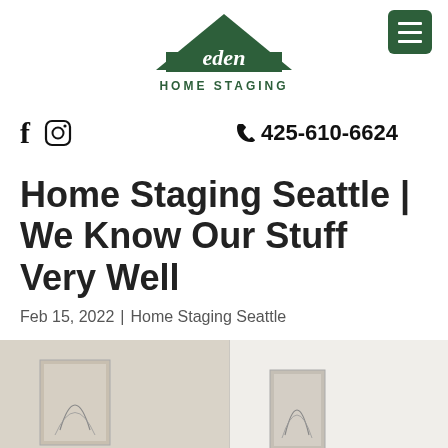[Figure (logo): Eden Home Staging logo: green triangle/house shape with cursive 'eden' text inside, 'HOME STAGING' text below in caps]
[Figure (other): Green hamburger menu button (three white horizontal lines on dark green background) in top right corner]
f  [Instagram icon]  📞425-610-6624
Home Staging Seattle | We Know Our Stuff Very Well
Feb 15, 2022 | Home Staging Seattle
[Figure (photo): Partial view of a staged room interior with light-colored walls and framed botanical art]